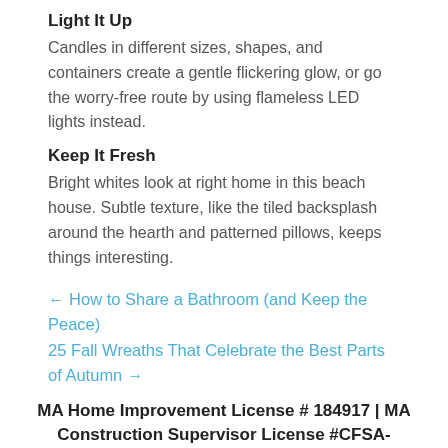Light It Up
Candles in different sizes, shapes, and containers create a gentle flickering glow, or go the worry-free route by using flameless LED lights instead.
Keep It Fresh
Bright whites look at right home in this beach house. Subtle texture, like the tiled backsplash around the hearth and patterned pillows, keeps things interesting.
← How to Share a Bathroom (and Keep the Peace)
25 Fall Wreaths That Celebrate the Best Parts of Autumn →
MA Home Improvement License # 184917 | MA Construction Supervisor License #CFSA-